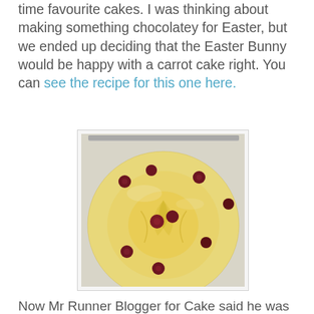time favourite cakes. I was thinking about making something chocolatey for Easter, but we ended up deciding that the Easter Bunny would be happy with a carrot cake right. You can see the recipe for this one here.
[Figure (photo): A round upside-down cake topped with pineapple rings and dark cherries/cranberries, sitting on a wire cooling rack.]
Now Mr Runner Blogger for Cake said he was not thinking of...